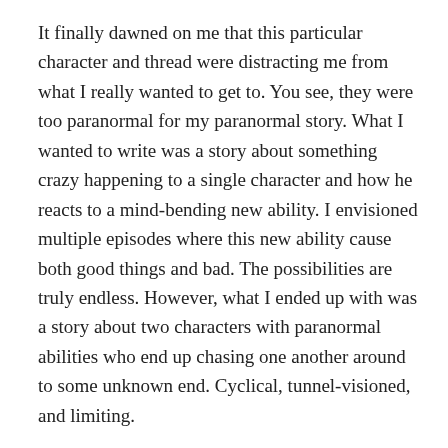It finally dawned on me that this particular character and thread were distracting me from what I really wanted to get to. You see, they were too paranormal for my paranormal story. What I wanted to write was a story about something crazy happening to a single character and how he reacts to a mind-bending new ability. I envisioned multiple episodes where this new ability cause both good things and bad. The possibilities are truly endless. However, what I ended up with was a story about two characters with paranormal abilities who end up chasing one another around to some unknown end. Cyclical, tunnel-visioned, and limiting.
So, I have to start over with the story, but I think it'll be for the best. I'll only be “throwing away” a couple thousand words. Been there, done that. Sometimes it's